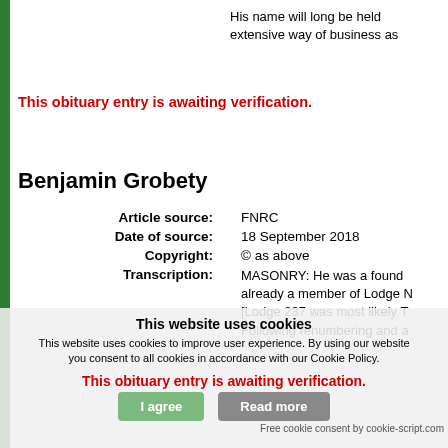His name will long be held extensive way of business as
This obituary entry is awaiting verification.
Benjamin Grobety
| Article source: | FNRC |
| Date of source: | 18 September 2018 |
| Copyright: | © as above |
| Transcription: | MASONRY: He was a found already a member of Lodge N [Lodge 237 was most likely T Following renumbering and a |
This obituary entry is awaiting verification.
This website uses cookies
This website uses cookies to improve user experience. By using our website you consent to all cookies in accordance with our Cookie Policy.
I agree  Read more
Free cookie consent by cookie-script.com